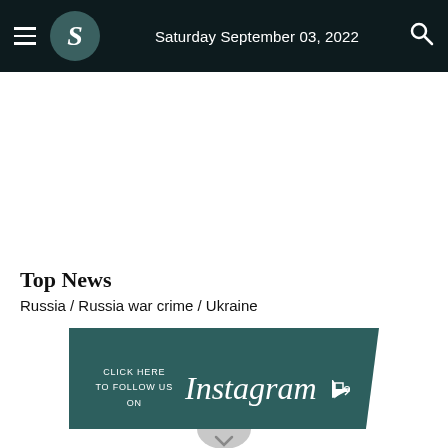Saturday September 03, 2022
Top News
Russia / Russia war crime / Ukraine
[Figure (infographic): Dark teal banner with text 'CLICK HERE TO FOLLOW US ON Instagram' with a hand pointer icon, Instagram follow call-to-action banner]